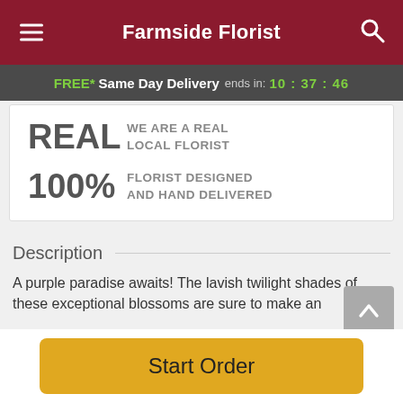Farmside Florist
FREE* Same Day Delivery ends in: 10:37:46
REAL WE ARE A REAL LOCAL FLORIST
100% FLORIST DESIGNED AND HAND DELIVERED
Description
A purple paradise awaits! The lavish twilight shades of these exceptional blossoms are sure to make an
Start Order